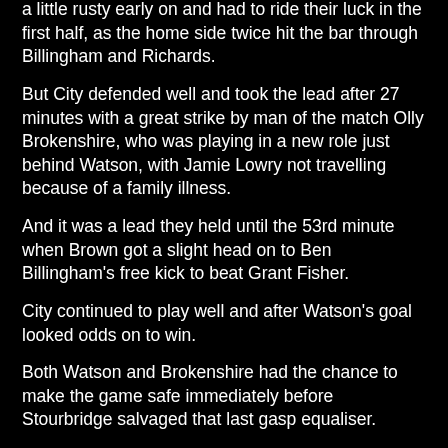a little rusty early on and had to ride their luck in the first half, as the home side twice hit the bar through Billingham and Richards.
But City defended well and took the lead after 27 minutes with a great strike by man of the match Olly Brokenshire, who was playing in a new role just behind Watson, with Jamie Lowry not travelling because of a family illness.
And it was a lead they held until the 53rd minute when Brown got a slight head on to Ben Billingham's free kick to beat Grant Fisher.
City continued to play well and after Watson's goal looked odds on to win.
Both Watson and Brokenshire had the chance to make the game safe immediately before Stourbridge salvaged that last gasp equaliser.
And it all left City boss Steve Massey happy with his team's performance but frustrated that against they had been unable to get the win.